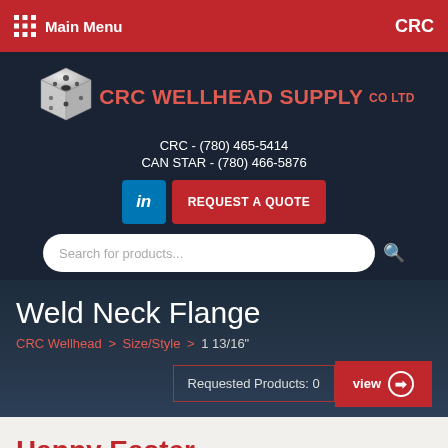Main Menu | CRC
[Figure (logo): CRC Wellhead Supply Co Ltd logo with cube-shaped wellhead component icon]
CRC - (780) 465-5414
CAN STAR - (780) 466-5876
REQUEST A QUOTE
Search for products...
Weld Neck Flange
CRC Wellhead > Size/Style > 1 13/16"
Requested Products: 0  view
Happy Easter